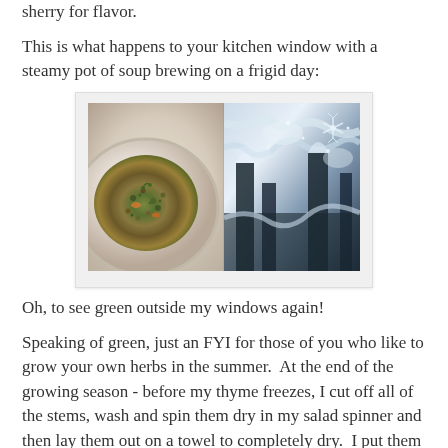sherry for flavor.
This is what happens to your kitchen window with a steamy pot of soup brewing on a frigid day:
[Figure (photo): Side-by-side composite photo: left half shows a white bowl of lentil soup with herbs and vegetables; right half shows a frost-covered window with ice crystal patterns in black and white.]
Oh, to see green outside my windows again!
Speaking of green, just an FYI for those of you who like to grow your own herbs in the summer.  At the end of the growing season - before my thyme freezes, I cut off all of the stems, wash and spin them dry in my salad spinner and then lay them out on a towel to completely dry.  I put them in zipper bags and freeze them to use in all the recipes that call from thyme during the winter and early spring.  Just throw